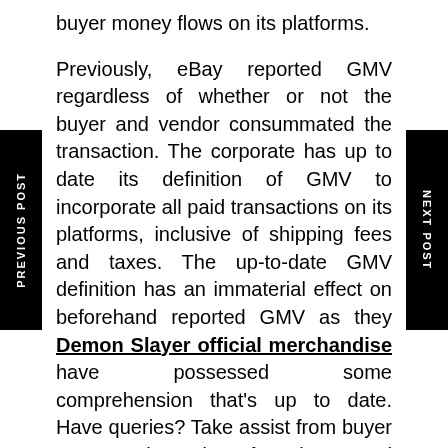buyer money flows on its platforms.
Previously, eBay reported GMV regardless of whether or not the buyer and vendor consummated the transaction. The corporate has up to date its definition of GMV to incorporate all paid transactions on its platforms, inclusive of shipping fees and taxes. The up-to-date GMV definition has an immaterial effect on beforehand reported GMV as they Demon Slayer official merchandise have possessed some comprehension that's up to date. Have queries? Take assist from buyer support. These days, footy lovers and admirers have a pleasant new choice to help assist their favorite groups — by way of garments and
PREVIOUS POST
NEXT POST